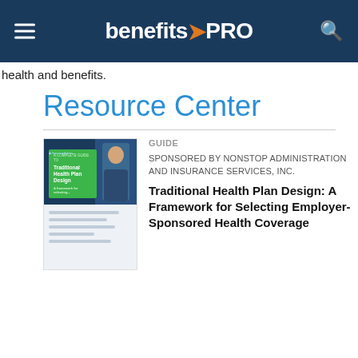benefitsPRO
health and benefits.
Resource Center
[Figure (illustration): Guide thumbnail for Traditional Health Plan Design showing a green card with title text and a person with a laptop on a dark navy background, with a light grey bottom section containing placeholder text lines.]
GUIDE
SPONSORED BY NONSTOP ADMINISTRATION AND INSURANCE SERVICES, INC.
Traditional Health Plan Design: A Framework for Selecting Employer-Sponsored Health Coverage